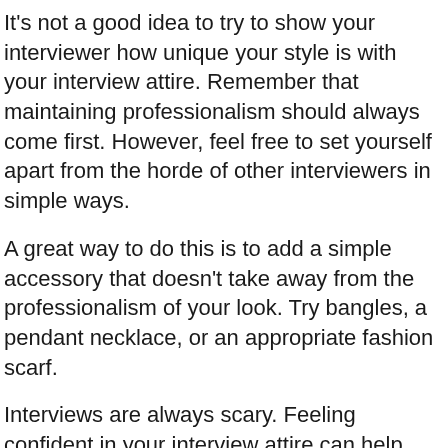It's not a good idea to try to show your interviewer how unique your style is with your interview attire. Remember that maintaining professionalism should always come first. However, feel free to set yourself apart from the horde of other interviewers in simple ways.
A great way to do this is to add a simple accessory that doesn't take away from the professionalism of your look. Try bangles, a pendant necklace, or an appropriate fashion scarf.
Interviews are always scary. Feeling confident in your interview attire can help with your nerves. Put professionalism first and let your outfit and your personality work their magic together to get you hired.